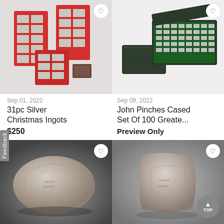[Figure (photo): Photo of 31pc Silver Christmas Ingots - red card holders with silver ingots and a small brown case on gray background]
[Figure (photo): Photo of John Pinches Cased Set of 100 Greatest - dark green display boxes open showing rows of small silver ingots]
Sep 01, 2022
31pc Silver Christmas Ingots
$250
Sep 09, 2022
John Pinches Cased Set Of 100 Greate...
Preview Only
[Figure (photo): Photo of a large oval/round silver ingot with engraved design on dark gray gradient background]
[Figure (photo): Photo of an axe-head shaped silver ingot with engraved markings on light gray background]